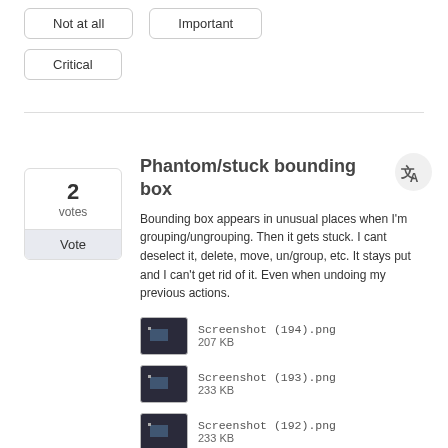Not at all
Important
Critical
Phantom/stuck bounding box
Bounding box appears in unusual places when I'm grouping/ungrouping. Then it gets stuck. I cant deselect it, delete, move, un/group, etc. It stays put and I can't get rid of it. Even when undoing my previous actions.
[Figure (screenshot): Screenshot (194).png thumbnail, 207 KB]
[Figure (screenshot): Screenshot (193).png thumbnail, 233 KB]
[Figure (screenshot): Screenshot (192).png thumbnail, 233 KB]
[Figure (screenshot): ghost box screen.jpg thumbnail, 513 KB]